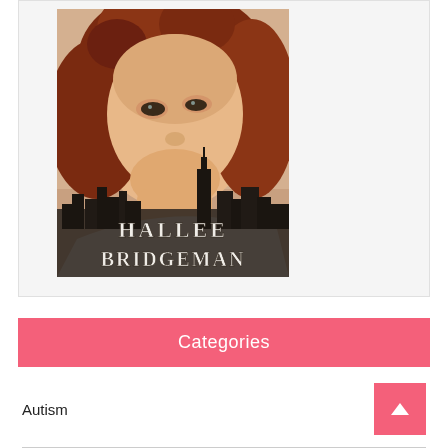[Figure (photo): Book cover for Hallee Bridgeman showing a young woman with curly red hair and a city skyline silhouette with the author name 'Hallee Bridgeman' overlaid in stylized text]
Categories
Autism
Blog Stuff (216)